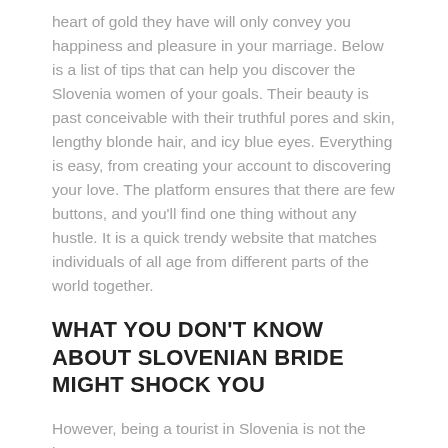heart of gold they have will only convey you happiness and pleasure in your marriage. Below is a list of tips that can help you discover the Slovenia women of your goals. Their beauty is past conceivable with their truthful pores and skin, lengthy blonde hair, and icy blue eyes. Everything is easy, from creating your account to discovering your love. The platform ensures that there are few buttons, and you'll find one thing without any hustle. It is a quick trendy website that matches individuals of all age from different parts of the world together.
WHAT YOU DON'T KNOW ABOUT SLOVENIAN BRIDE MIGHT SHOCK YOU
However, being a tourist in Slovenia is not the best means